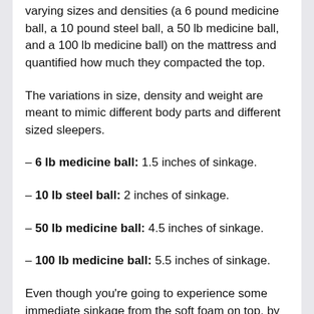varying sizes and densities (a 6 pound medicine ball, a 10 pound steel ball, a 50 lb medicine ball, and a 100 lb medicine ball) on the mattress and quantified how much they compacted the top.
The variations in size, density and weight are meant to mimic different body parts and different sized sleepers.
– 6 lb medicine ball: 1.5 inches of sinkage.
– 10 lb steel ball: 2 inches of sinkage.
– 50 lb medicine ball: 4.5 inches of sinkage.
– 100 lb medicine ball: 5.5 inches of sinkage.
Even though you're going to experience some immediate sinkage from the soft foam on top, by